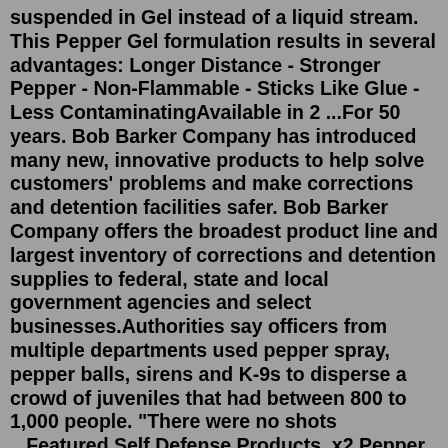suspended in Gel instead of a liquid stream. This Pepper Gel formulation results in several advantages: Longer Distance - Stronger Pepper - Non-Flammable - Sticks Like Glue - Less ContaminatingAvailable in 2 ...For 50 years. Bob Barker Company has introduced many new, innovative products to help solve customers' problems and make corrections and detention facilities safer. Bob Barker Company offers the broadest product line and largest inventory of corrections and detention supplies to federal, state and local government agencies and select businesses.Authorities say officers from multiple departments used pepper spray, pepper balls, sirens and K-9s to disperse a crowd of juveniles that had between 800 to 1,000 people. "There were no shots ...Featured Self Defense Products. x2 Pepper Spray & Tear Gas Rounds $49.99. Crimson Trace Laser Sight $89.95. s1 Pepper Spray Gun Starter Kit (Black) $379.99. s1 Pepper Spray Gun Starter Kit (Safety Yellow) $379.99. © 2022 Florida Gun Supply "Get